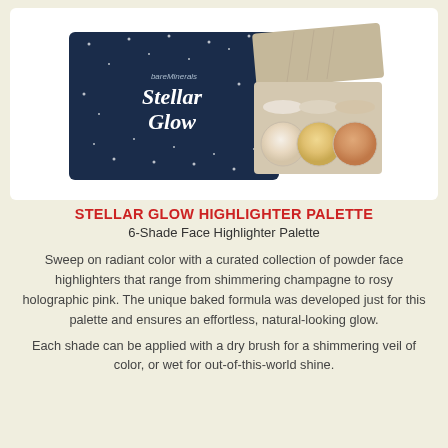[Figure (photo): Product photo of bareMinerals Stellar Glow Highlighter Palette showing dark navy star-pattern box packaging and open palette tray with 6 highlight shades ranging from white to champagne to rose gold]
STELLAR GLOW HIGHLIGHTER PALETTE
6-Shade Face Highlighter Palette
Sweep on radiant color with a curated collection of powder face highlighters that range from shimmering champagne to rosy holographic pink. The unique baked formula was developed just for this palette and ensures an effortless, natural-looking glow.
Each shade can be applied with a dry brush for a shimmering veil of color, or wet for out-of-this-world shine.